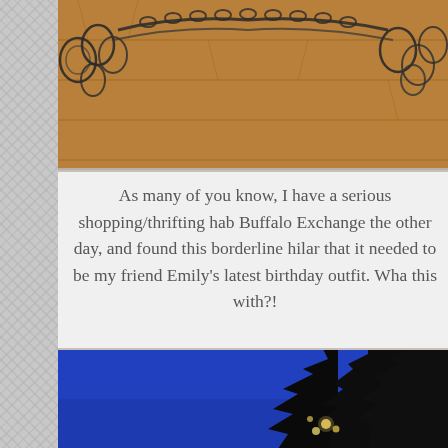[Figure (photo): Partial photo showing what appears to be a lace or chain-link item on a wooden floor background, cropped at top]
As many of you know, I have a serious shopping/thrifting hab... Buffalo Exchange the other day, and found this borderline hilar... that it needed to be my friend Emily's latest birthday outfit. Wha... this with?!
[Figure (photo): Night/dusk photo showing a deep blue sky with a tree silhouette in the lower right corner and some lights visible through the branches]